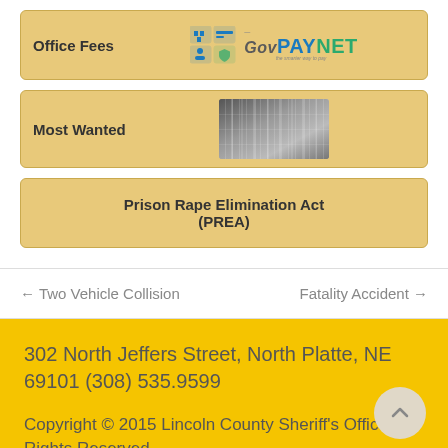[Figure (other): Office Fees button with GovPayNet logo — teal/blue icons and text logo]
[Figure (photo): Most Wanted button with a blurred mugshot/lineup image on the right]
Prison Rape Elimination Act (PREA)
← Two Vehicle Collision
Fatality Accident →
302 North Jeffers Street, North Platte, NE 69101 (308) 535.9599
Copyright © 2015 Lincoln County Sheriff's Office. All Rights Reserved